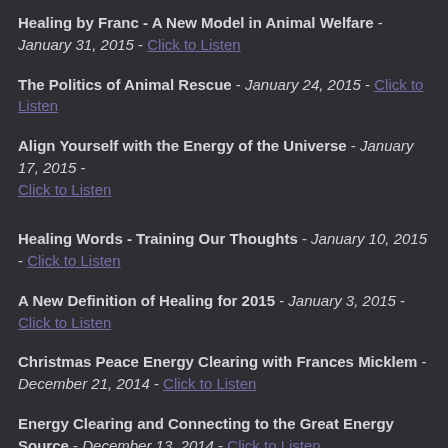Healing by Franc - A New Model in Animal Welfare - January 31, 2015 - Click to Listen
The Politics of Animal Rescue - January 24, 2015 - Click to Listen
Align Yourself with the Energy of the Universe - January 17, 2015 - Click to Listen
Healing Words - Training Our Thoughts - January 10, 2015 - Click to Listen
A New Definition of Healing for 2015 - January 3, 2015 - Click to Listen
Christmas Peace Energy Clearing with Frances Micklem - December 21, 2014 - Click to Listen
Energy Clearing and Connecting to the Great Energy Source - December 13, 2014 - Click to Listen.